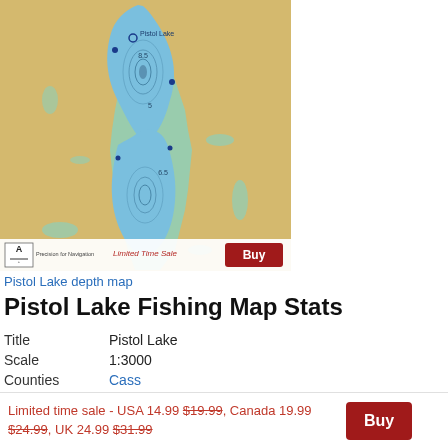[Figure (map): Pistol Lake depth map showing lake bathymetry with blue depth contours on tan/sandy background with teal shallow water areas. Features a Buy button and Limited Time Sale label at bottom.]
Pistol Lake depth map
Pistol Lake Fishing Map Stats
| Title | Pistol Lake |
| Scale | 1:3000 |
| Counties | Cass |
Limited time sale - USA 14.99 $19.99, Canada 19.99 $24.99, UK 24.99 $31.99